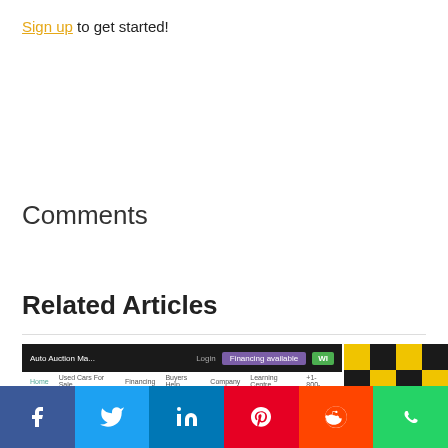Sign up to get started!
Comments
Related Articles
[Figure (screenshot): Screenshot of an auto auction marketplace website with 'Buy & Bid! Used, Pre-Owned & Salvage Vehicles' banner]
[Figure (photo): Partial photo of a person in front of a yellow and black checkerboard pattern]
[Figure (infographic): Social media share bar with Facebook, Twitter, LinkedIn, Pinterest, Reddit, and WhatsApp buttons]